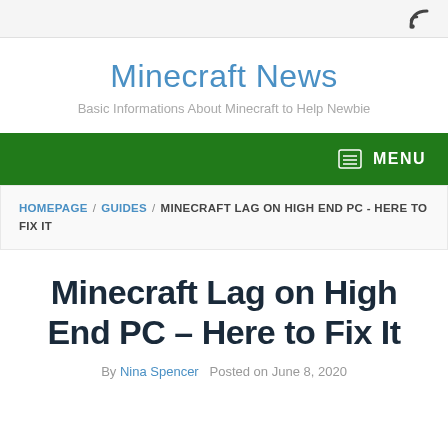RSS icon top right
Minecraft News
Basic Informations About Minecraft to Help Newbie
MENU
HOMEPAGE / GUIDES / MINECRAFT LAG ON HIGH END PC - HERE TO FIX IT
Minecraft Lag on High End PC – Here to Fix It
By Nina Spencer   Posted on June 8, 2020